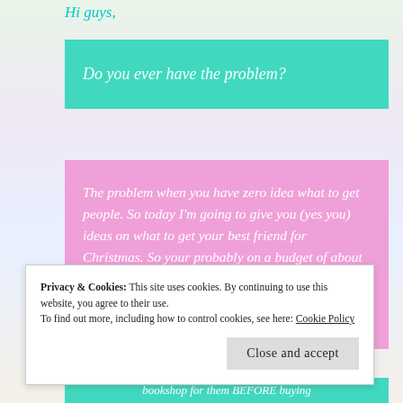Hi guys,
Do you ever have the problem?
The problem when you have zero idea what to get people. So today I'm going to give you (yes you) ideas on what to get your best friend for Christmas. So your probably on a budget of about £10 and you need ideas on what to get your best friend.
bookshop for them BEFORE buying
Privacy & Cookies: This site uses cookies. By continuing to use this website, you agree to their use.
To find out more, including how to control cookies, see here: Cookie Policy
Close and accept